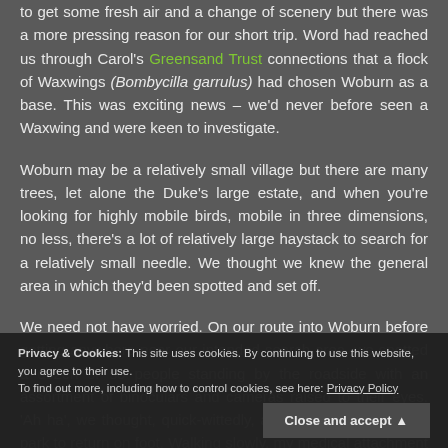to get some fresh air and a change of scenery but there was a more pressing reason for our short trip. Word had reached us through Carol's Greensand Trust connections that a flock of Waxwings (Bombycilla garrulus) had chosen Woburn as a base. This was exciting news – we'd never before seen a Waxwing and were keen to investigate.
Woburn may be a relatively small village but there are many trees, let alone the Duke's large estate, and when you're looking for highly mobile birds, mobile in three dimensions, no less, there's a lot of relatively large haystack to search for a relatively small needle. We thought we knew the general area in which they'd been spotted and set off.
We need not have worried. On our route into Woburn before getting anywhere near our intended search area, we spotted a dozen or so people standing by the roadside with an assortment of binoculars and cameras raised to their eyes. 'Ah ha', we thought, quick-wittedly, and continued to the car park to return on foot. Walking slowly, my medical attachment made me yelp only once or twice. 😉
Privacy & Cookies: This site uses cookies. By continuing to use this website, you agree to their use. To find out more, including how to control cookies, see here: Privacy Policy